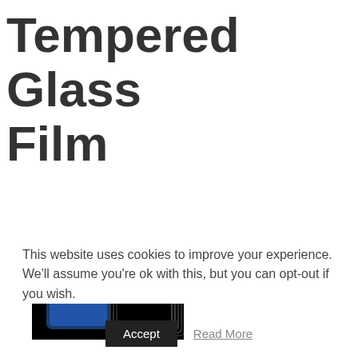Tempered Glass Film
[Figure (photo): Product photo of 10PCS tempered glass screen protectors on a black background, showing a phone with stacked glass films labeled '10PCS']
This website uses cookies to improve your experience. We'll assume you're ok with this, but you can opt-out if you wish.
Accept   Read More